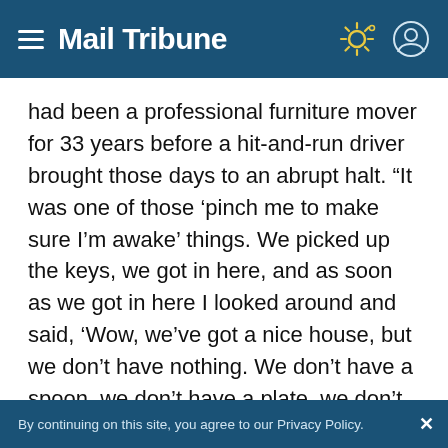Mail Tribune
had been a professional furniture mover for 33 years before a hit-and-run driver brought those days to an abrupt halt. “It was one of those ‘pinch me to make sure I’m awake’ things. We picked up the keys, we got in here, and as soon as we got in here I looked around and said, ‘Wow, we’ve got a nice house, but we don’t have nothing. We don’t have a spoon, we don’t have a plate, we don’t have a cup, we don’t have nothing to sit on. It’s empty.’”
By continuing on this site, you agree to our Privacy Policy.